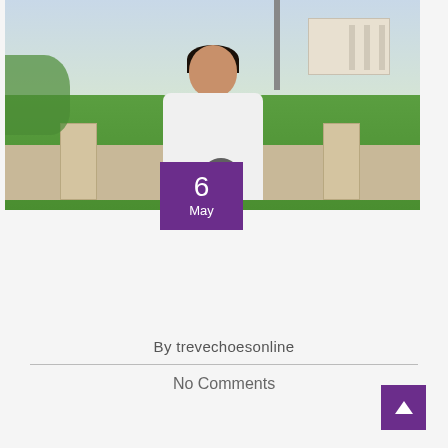[Figure (photo): Young man in a white Puma hoodie standing outdoors in front of stone pillars and a grassy area, with a building visible in the background. A purple date box overlay shows '6 May'.]
By trevechoesonline
No Comments